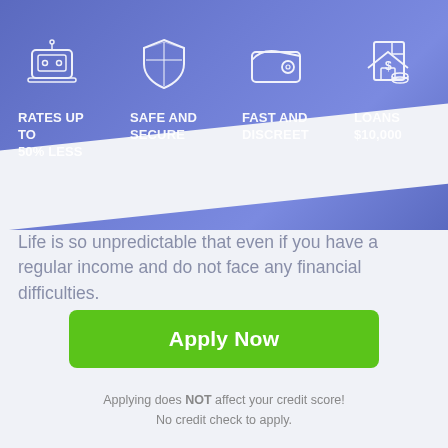[Figure (infographic): Four icons on blue background: laptop/robot icon, shield icon, wallet icon, house/money icon]
RATES UP TO 50% LESS
SAFE AND SECURE
FAST AND DISCREET
LOANS $10,000
Life is so unpredictable that even if you have a regular income and do not face any financial difficulties.
Apply Now
Applying does NOT affect your credit score! No credit check to apply.